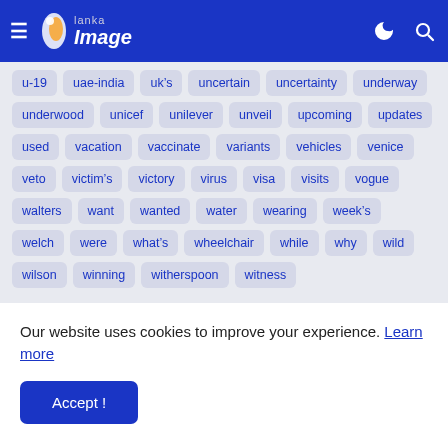Lanka Image — navigation header with hamburger menu, logo, dark mode icon, and search icon
u-19
uae-india
uk&#8217;s
uncertain
uncertainty
underway
underwood
unicef
unilever
unveil
upcoming
updates
used
vacation
vaccinate
variants
vehicles
venice
veto
victim&#8217;s
victory
virus
visa
visits
vogue
walters
want
wanted
water
wearing
week's
welch
were
what&#8217;s
wheelchair
while
why
wild
wilson
winning
witherspoon
witness
Our website uses cookies to improve your experience. Learn more
Accept !